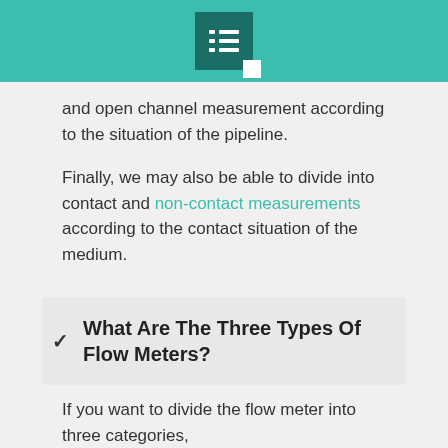[Header bar with list icon]
and open channel measurement according to the situation of the pipeline.
Finally, we may also be able to divide into contact and non-contact measurements according to the contact situation of the medium.
What Are The Three Types Of Flow Meters?
If you want to divide the flow meter into three categories,